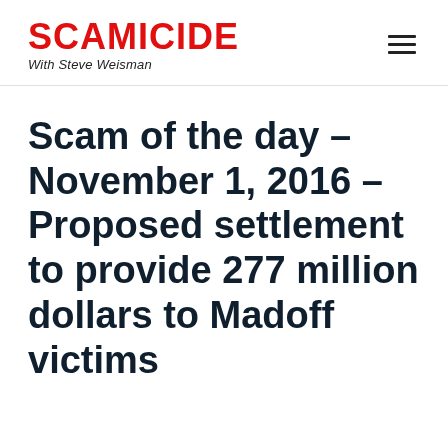SCAMICIDE With Steve Weisman
Scam of the day – November 1, 2016 – Proposed settlement to provide 277 million dollars to Madoff victims